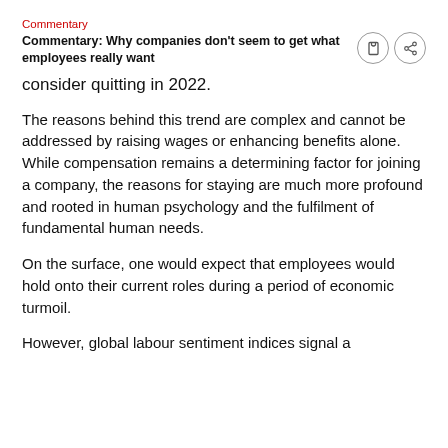Commentary
Commentary: Why companies don't seem to get what employees really want
consider quitting in 2022.
The reasons behind this trend are complex and cannot be addressed by raising wages or enhancing benefits alone. While compensation remains a determining factor for joining a company, the reasons for staying are much more profound and rooted in human psychology and the fulfilment of fundamental human needs.
On the surface, one would expect that employees would hold onto their current roles during a period of economic turmoil.
However, global labour sentiment indices signal a